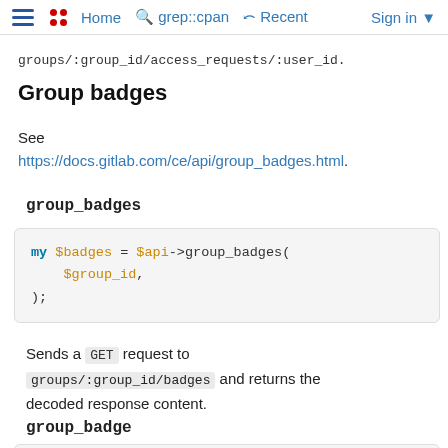≡  •• Home  🔍 grep::cpan  ↺ Recent  Sign in ▾
groups/:group_id/access_requests/:user_id.
Group badges
See https://docs.gitlab.com/ce/api/group_badges.html.
group_badges
my $badges = $api->group_badges(
    $group_id,
);
Sends a GET request to groups/:group_id/badges and returns the decoded response content.
group_badge
my $badge = $api->group_badge(